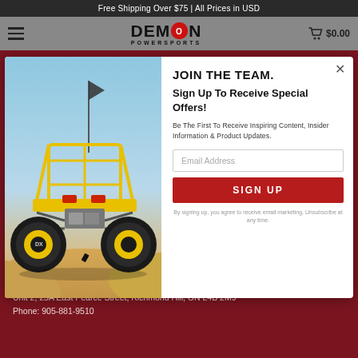Free Shipping Over $75 | All Prices in USD
[Figure (logo): Demon Powersports logo with stylized demon character in the O, cart icon showing $0.00]
[Figure (photo): Yellow and black UTV/side-by-side vehicle in desert sand dunes with a flag attached]
JOIN THE TEAM.
Sign Up To Receive Special Offers!
Be The First To Receive Inspiring Content, Insider Information & Product Updates.
Email Address
SIGN UP
By signing up, you agree to receive email marketing. Unsubscribe at any time.
DEMON POWERSPORTS
Unit 2, 25A East Pearce Street, Richmond Hill, ON L4B 2M9
Phone: 905-881-9510